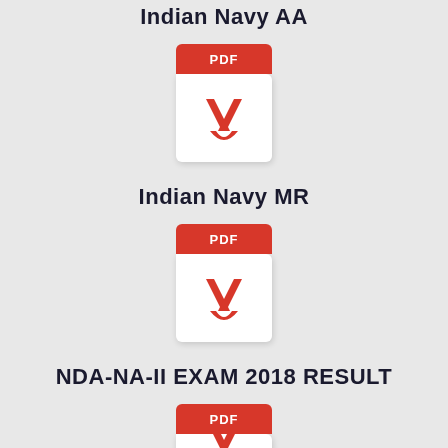Indian Navy AA
[Figure (illustration): PDF file icon with red header and Adobe Acrobat logo]
Indian Navy MR
[Figure (illustration): PDF file icon with red header and Adobe Acrobat logo]
NDA-NA-II EXAM 2018 RESULT
[Figure (illustration): PDF file icon with red header and Adobe Acrobat logo, partially visible]